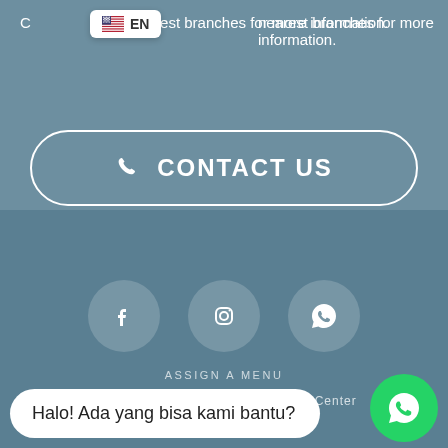C... nearest branches for more information.
EN (language selector badge)
CONTACT US
[Figure (screenshot): Social media icons: Facebook, Instagram, WhatsApp in circular background buttons]
ASSIGN A MENU
© 2019 IkuZol Japanese Education Center
Halo! Ada yang bisa kami bantu?
[Figure (logo): WhatsApp floating action button (green circle with WhatsApp icon)]